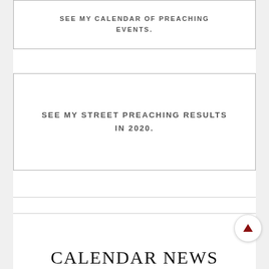SEE MY CALENDAR OF PREACHING EVENTS.
SEE MY STREET PREACHING RESULTS IN 2020.
CALENDAR NEWS